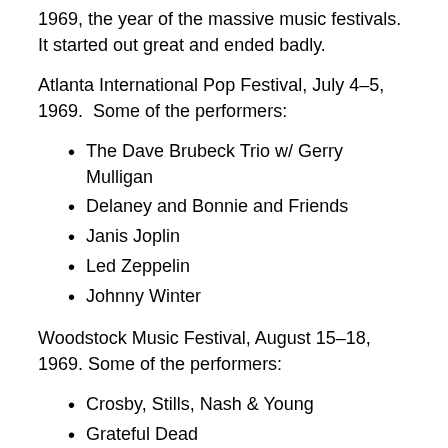1969, the year of the massive music festivals. It started out great and ended badly.
Atlanta International Pop Festival, July 4–5, 1969. Some of the performers:
The Dave Brubeck Trio w/ Gerry Mulligan
Delaney and Bonnie and Friends
Janis Joplin
Led Zeppelin
Johnny Winter
Woodstock Music Festival, August 15–18, 1969. Some of the performers:
Crosby, Stills, Nash & Young
Grateful Dead
Jefferson Airplane
Jimi Hendrix
The Who
Isle of Wight Festival, August 30–31, 1969. Some of the